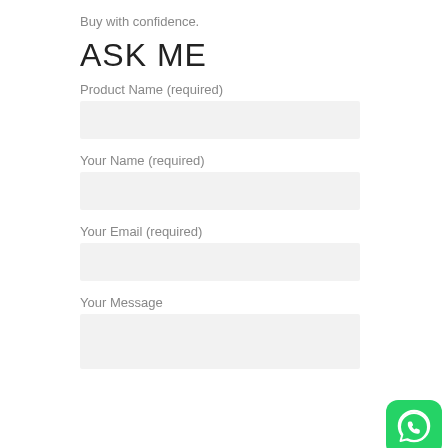Buy with confidence.
ASK ME
Product Name (required)
Your Name (required)
Your Email (required)
Your Message
[Figure (logo): WhatsApp logo button at bottom right]